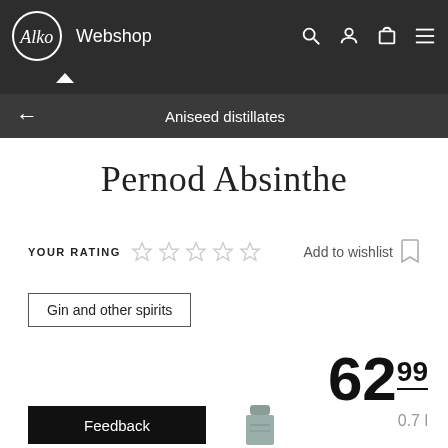Alko Webshop — navigation bar with search, account, cart, and menu icons
Aniseed distillates
Pernod Absinthe
YOUR RATING — 5 empty stars — Add to wishlist
Gin and other spirits
62.99
0.7 l
Feedback